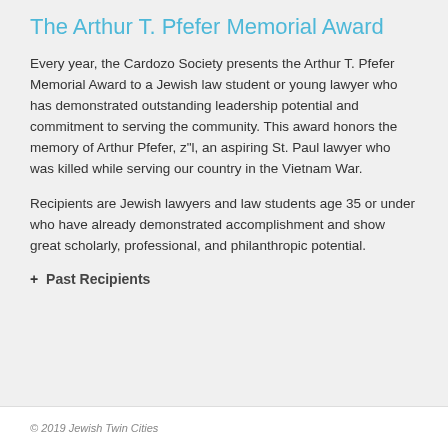The Arthur T. Pfefer Memorial Award
Every year, the Cardozo Society presents the Arthur T. Pfefer Memorial Award to a Jewish law student or young lawyer who has demonstrated outstanding leadership potential and commitment to serving the community. This award honors the memory of Arthur Pfefer, z"l, an aspiring St. Paul lawyer who was killed while serving our country in the Vietnam War.
Recipients are Jewish lawyers and law students age 35 or under who have already demonstrated accomplishment and show great scholarly, professional, and philanthropic potential.
+ Past Recipients
© 2019 Jewish Twin Cities